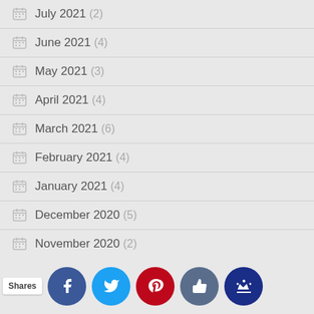July 2021 (2)
June 2021 (4)
May 2021 (3)
April 2021 (4)
March 2021 (6)
February 2021 (4)
January 2021 (4)
December 2020 (5)
November 2020 (2)
October 2020 (3)